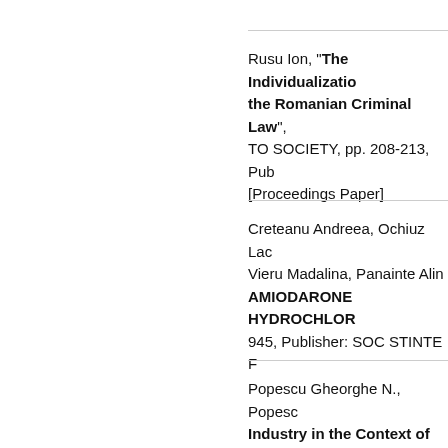Rusu Ion, "The Individualization of the Romanian Criminal Law", TO SOCIETY, pp. 208-213, Publisher: [Proceedings Paper]
Creteanu Andreea, Ochiuz Lac, Vieru Madalina, Panainte Alin, AMIODARONE HYDROCHLOR..., 945, Publisher: SOC STINTE F
Popescu Gheorghe N., Popescu, Industry in the Context of Eco, Development - A Nowadays B, MANAGEMENT, DEVELOPME, VOLS I - VII, pp. 260-269, Publisher: